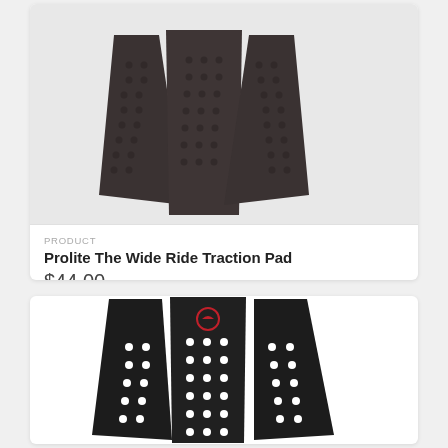[Figure (photo): Dark brown/black three-piece surfboard traction pad (Prolite The Wide Ride) shown from above on white background]
PRODUCT
Prolite The Wide Ride Traction Pad
$44.00
[Figure (photo): Black three-piece surfboard traction pad with white dot pattern and red logo, shown from above on white background]